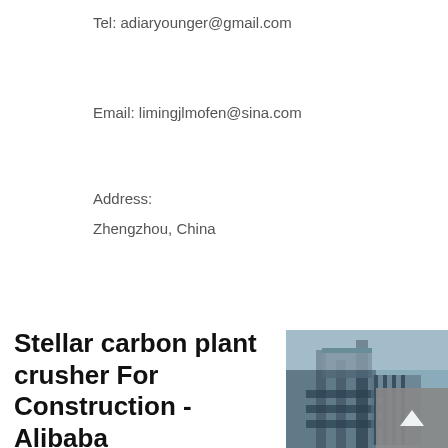Tel: adiaryounger@gmail.com
Email: limingjlmofen@sina.com
Address:
Zhengzhou, China
Stellar carbon plant crusher For Construction - Alibaba
[Figure (photo): Industrial carbon plant crusher facility with steel structures and conveyor equipment]